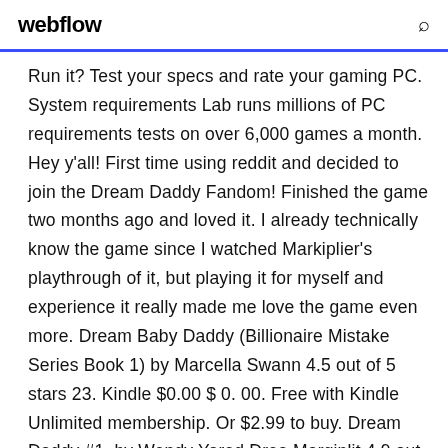webflow
Run it? Test your specs and rate your gaming PC. System requirements Lab runs millions of PC requirements tests on over 6,000 games a month. Hey y'all! First time using reddit and decided to join the Dream Daddy Fandom! Finished the game two months ago and loved it. I already technically know the game since I watched Markiplier's playthrough of it, but playing it for myself and experience it really made me love the game even more. Dream Baby Daddy (Billionaire Mistake Series Book 1) by Marcella Swann 4.5 out of 5 stars 23. Kindle $0.00 $ 0. 00. Free with Kindle Unlimited membership. Or $2.99 to buy. Dream Daddy #1. by Wendy Yared Drea Marginlit 4.9 out of 5...